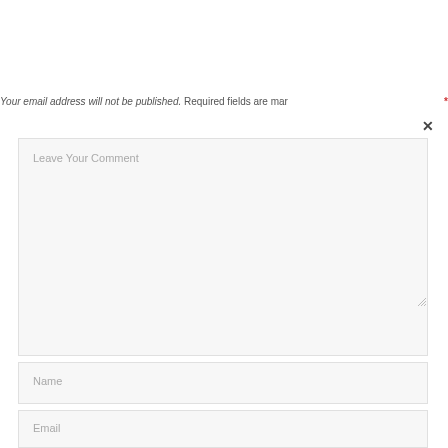Your email address will not be published. Required fields are mar*
[Figure (screenshot): Comment form textarea with placeholder text 'Leave Your Comment' and resize handle]
Name
Email